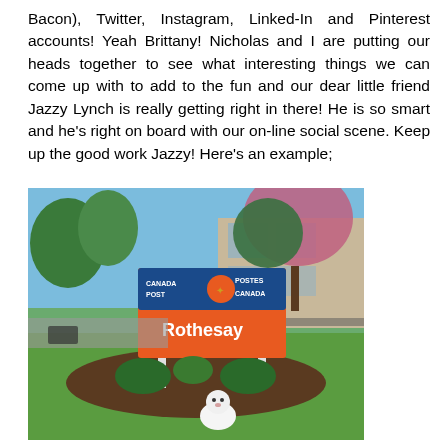Bacon), Twitter, Instagram, Linked-In and Pinterest accounts! Yeah Brittany! Nicholas and I are putting our heads together to see what interesting things we can come up with to add to the fun and our dear little friend Jazzy Lynch is really getting right in there! He is so smart and he's right on board with our on-line social scene. Keep up the good work Jazzy! Here's an example;
[Figure (photo): Photo of a small white dog sitting on green grass in front of a Canada Post / Postes Canada sign that reads 'Rothesay'. The sign is orange with white text and the Canada Post logo. Behind the sign is a building with trees and a parking area.]